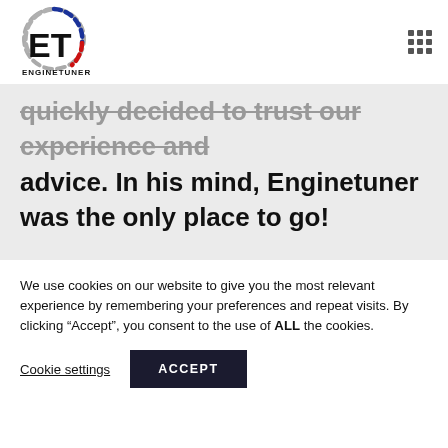ENGINETUNER
quickly decided to trust our experience and advice. In his mind, Enginetuner was the only place to go!
We use cookies on our website to give you the most relevant experience by remembering your preferences and repeat visits. By clicking “Accept”, you consent to the use of ALL the cookies.
Cookie settings | ACCEPT